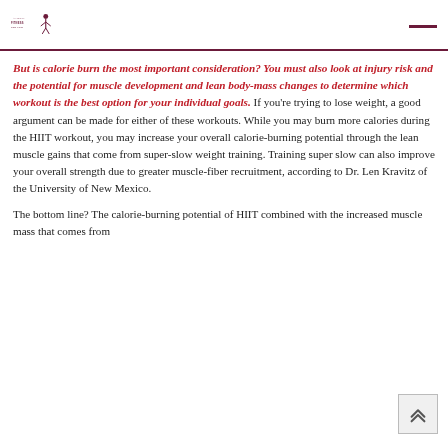FITNESS FOR LIFE
But is calorie burn the most important consideration? You must also look at injury risk and the potential for muscle development and lean body-mass changes to determine which workout is the best option for your individual goals. If you’re trying to lose weight, a good argument can be made for either of these workouts. While you may burn more calories during the HIIT workout, you may increase your overall calorie-burning potential through the lean muscle gains that come from super-slow weight training. Training super slow can also improve your overall strength due to greater muscle-fiber recruitment, according to Dr. Len Kravitz of the University of New Mexico.
The bottom line? The calorie-burning potential of HIIT combined with the increased muscle mass that comes from